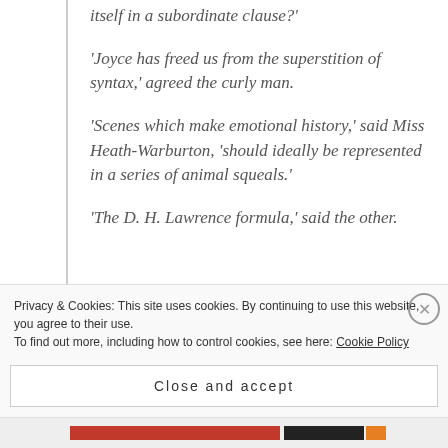itself in a subordinate clause?'
'Joyce has freed us from the superstition of syntax,' agreed the curly man.
'Scenes which make emotional history,' said Miss Heath-Warburton, 'should ideally be represented in a series of animal squeals.'
'The D. H. Lawrence formula,' said the other.
Privacy & Cookies: This site uses cookies. By continuing to use this website, you agree to their use.
To find out more, including how to control cookies, see here: Cookie Policy
Close and accept